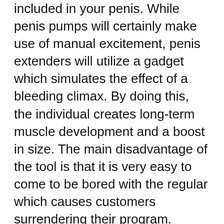included in your penis. While penis pumps will certainly make use of manual excitement, penis extenders will utilize a gadget which simulates the effect of a bleeding climax. By doing this, the individual creates long-term muscle development and a boost in size. The main disadvantage of the tool is that it is very easy to come to be bored with the regular which causes customers surrendering their program.
You can find a great deal of information regarding penis extenders and penis stretchers on the internet. However, before parting with your cash, see to it that you do not get scammed by buying an affordable gadget that will provide you no results. If you are planning to acquire a penis extender or a